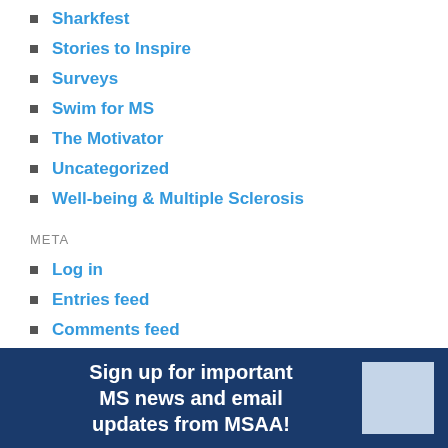Sharkfest
Stories to Inspire
Surveys
Swim for MS
The Motivator
Uncategorized
Well-being & Multiple Sclerosis
META
Log in
Entries feed
Comments feed
WordPress.org
Sign up for important MS news and email updates from MSAA!